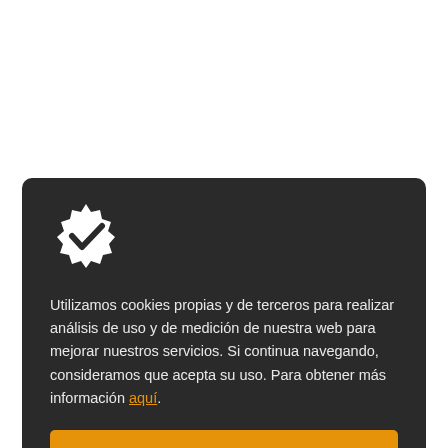[Figure (illustration): White verified/certified badge icon with a checkmark, on dark background]
Utilizamos cookies propias y de terceros para realizar análisis de uso y de medición de nuestra web para mejorar nuestros servicios. Si continua navegando, consideramos que acepta su uso. Para obtener más información aquí.
ACEPTAR